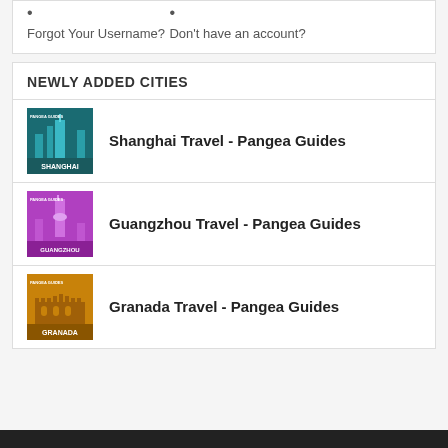Forgot Your Username?
Don't have an account?
NEWLY ADDED CITIES
[Figure (illustration): Shanghai Travel - Pangea Guides thumbnail: teal/dark blue city skyline with 'PANGEA GUIDES' and 'SHANGHAI' text]
Shanghai Travel - Pangea Guides
[Figure (illustration): Guangzhou Travel - Pangea Guides thumbnail: purple/magenta with tower silhouette and 'GUANGZHOU' text]
Guangzhou Travel - Pangea Guides
[Figure (illustration): Granada Travel - Pangea Guides thumbnail: golden/brown with Alhambra silhouette and 'GRANADA' text]
Granada Travel - Pangea Guides